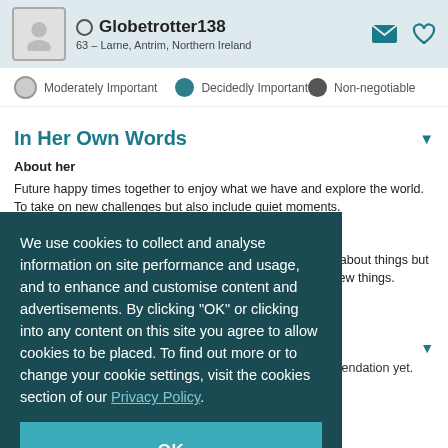Globetrotter138 – 63 – Larne, Antrim, Northern Ireland
Moderately Important
Decidedly Important
Non-negotiable
In Her Own Words
About her
Future happy times together to enjoy what we have and explore the world. To take on new challenges but also include quiet moments.
About him
A man who likes to socialise as well as relax, willing to talk about things but keep it light-hearted. Someone who enjoys life and trying new things.
We use cookies to collect and analyse information on site performance and usage, and to enhance and customise content and advertisements. By clicking "OK" or clicking into any content on this site you agree to allow cookies to be placed. To find out more or to change your cookie settings, visit the cookies section of our Privacy Policy.
OK
Globetrotter138 hasn't asked any friends to write a recommendation yet.